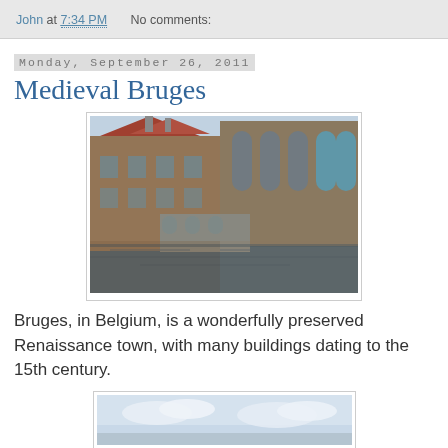John at 7:34 PM   No comments:
Monday, September 26, 2011
Medieval Bruges
[Figure (photo): Medieval stone buildings along a canal in Bruges, Belgium, with Gothic architecture and reflections in the water]
Bruges, in Belgium, is a wonderfully preserved Renaissance town, with many buildings dating to the 15th century.
[Figure (photo): Sky with clouds, partial view of a second Bruges photograph]